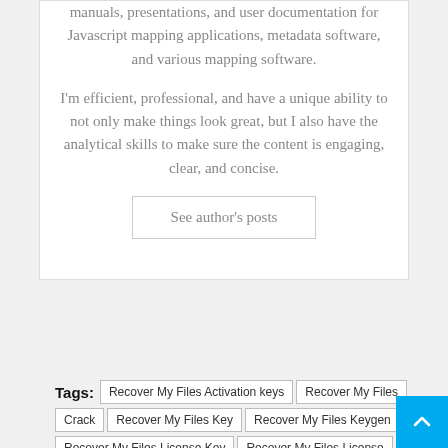manuals, presentations, and user documentation for Javascript mapping applications, metadata software, and various mapping software.
I'm efficient, professional, and have a unique ability to not only make things look great, but I also have the analytical skills to make sure the content is engaging, clear, and concise.
See author's posts
Tags: Recover My Files Activation keys | Recover My Files Crack | Recover My Files Key | Recover My Files Keygen | Recover My Files License Key | Recover My Files License Keys | Recover My Files Serial Key | Recover My Files Serial keys | Recover My Files Torrent